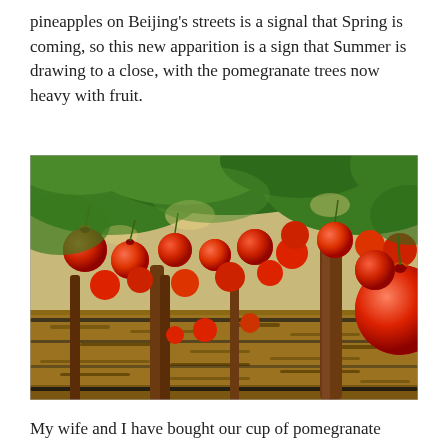pineapples on Beijing's streets is a signal that Spring is coming, so this new apparition is a sign that Summer is drawing to a close, with the pomegranate trees now heavy with fruit.
[Figure (photo): A pomegranate orchard with trees heavy with large red pomegranate fruits hanging from branches; the ground is covered with dry mulch and drip irrigation lines are visible; sunlight filters through the green foliage.]
My wife and I have bought our cup of pomegranate